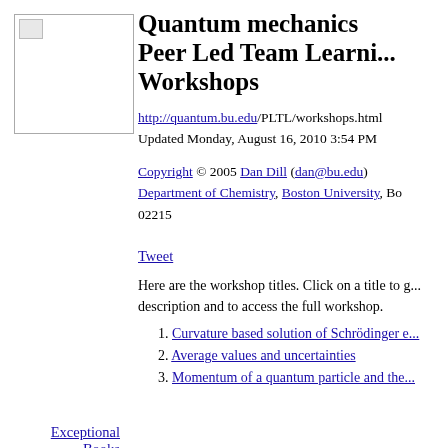[Figure (photo): Small book cover placeholder image in top-left area]
Quantum mechanics Peer Led Team Learning Workshops
http://quantum.bu.edu/PLTL/workshops.html
Updated Monday, August 16, 2010 3:54 PM
Copyright © 2005 Dan Dill (dan@bu.edu) Department of Chemistry, Boston University, Bo... 02215
Exceptional Books
[Figure (photo): Book cover image for 'What is Life?' book]
[Figure (photo): Small icon placeholder]
Tweet
Here are the workshop titles. Click on a title to g... description and to access the full workshop.
1. Curvature based solution of Schrödinger e...
2. Average values and uncertainties
3. Momentum of a quantum particle and the...